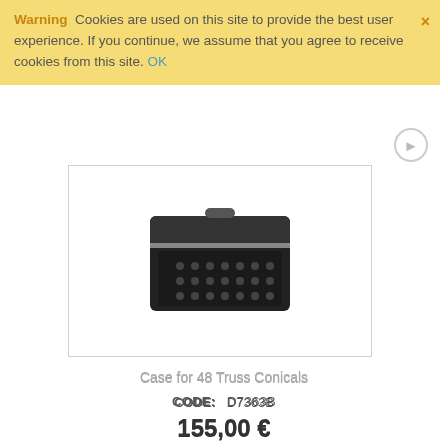Warning  Cookies are used on this site to provide the best user experience. If you continue, we assume that you agree to receive cookies from this site. OK
[Figure (photo): Product photo of a Case for 48 Truss Conicals - a black equipment case with connectors, shown in a bordered product image box]
Case for 48 Truss Conicals
CODE:   D7363B
155,00 €
Without VAT: 125,00 €
Availability:   4 to 10 days
ADD TO CART